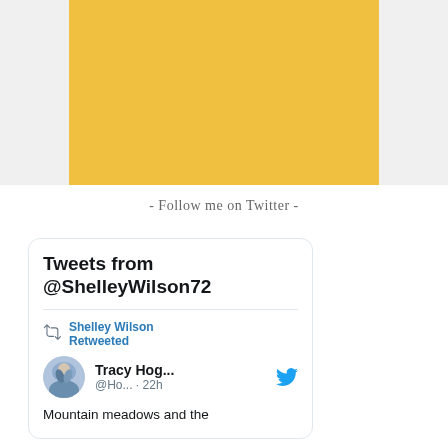[Figure (illustration): Bottom portion of a large yellow circle with dark gray border on a light gray background, partially cropped at top]
- Follow me on Twitter -
Tweets from @ShelleyWilson72
Shelley Wilson Retweeted
Tracy Hog... @Ho... · 22h
Mountain meadows and the